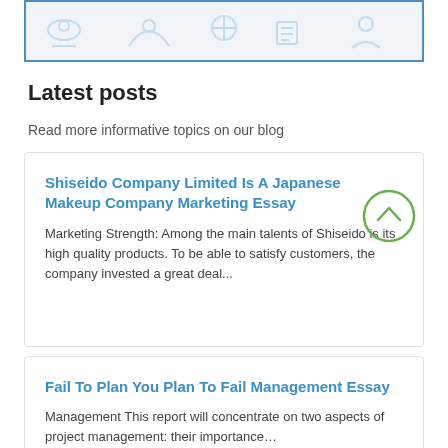[Figure (illustration): Top banner with light blue border containing faint illustrative icons of people/figures in a row]
Latest posts
Read more informative topics on our blog
Shiseido Company Limited Is A Japanese Makeup Company Marketing Essay
Marketing Strength: Among the main talents of Shiseido is its high quality products. To be able to satisfy customers, the company invested a great deal…
Fail To Plan You Plan To Fail Management Essay
Management This report will concentrate on two aspects of project management: their importance…